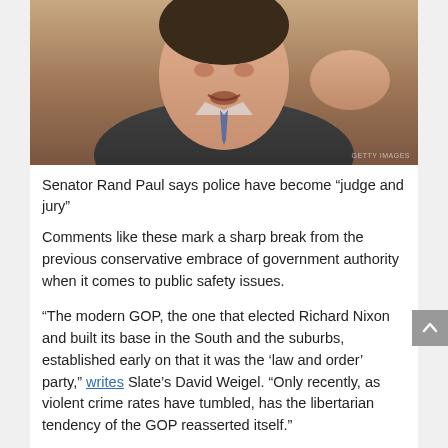[Figure (photo): Close-up photograph of a man (Senator Rand Paul) speaking, with a blurred background. Getty Images watermark visible in bottom right corner.]
Senator Rand Paul says police have become “judge and jury”
Comments like these mark a sharp break from the previous conservative embrace of government authority when it comes to public safety issues.
“The modern GOP, the one that elected Richard Nixon and built its base in the South and the suburbs, established early on that it was the ‘law and order’ party,” writes Slate’s David Weigel. “Only recently, as violent crime rates have tumbled, has the libertarian tendency of the GOP reasserted itself.”
In Sunday’s New York Times magazine cover story, Robert Draper asks: “Has the ‘libertarian moment’ finally